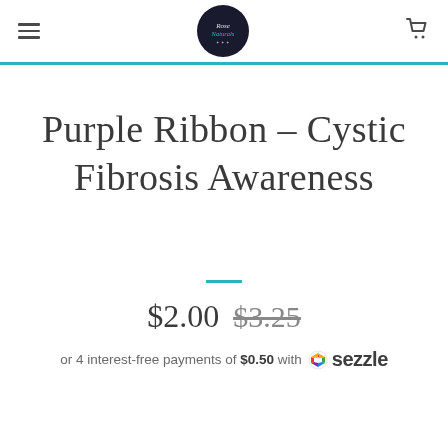Navigation header with hamburger menu, logo, and cart icon
Purple Ribbon - Cystic Fibrosis Awareness
$2.00 $3.25
or 4 interest-free payments of $0.50 with Sezzle